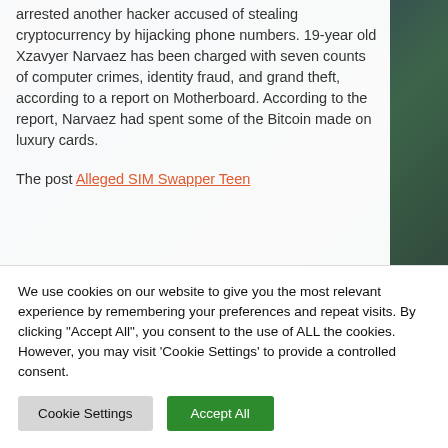Law enforcement officials in California have arrested another hacker accused of stealing cryptocurrency by hijacking phone numbers. 19-year old Xzavyer Narvaez has been charged with seven counts of computer crimes, identity fraud, and grand theft, according to a report on Motherboard. According to the report, Narvaez had spent some of the Bitcoin made on luxury cards.
The post Alleged SIM Swapper Teen…
We use cookies on our website to give you the most relevant experience by remembering your preferences and repeat visits. By clicking "Accept All", you consent to the use of ALL the cookies. However, you may visit 'Cookie Settings' to provide a controlled consent.